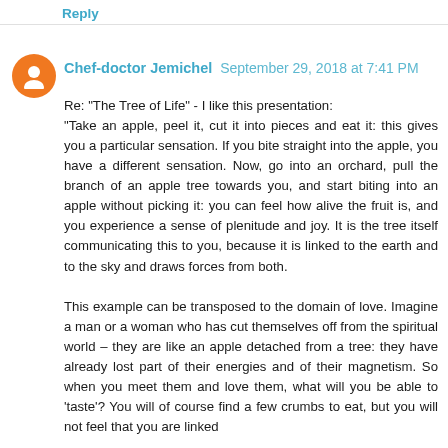Reply
Chef-doctor Jemichel September 29, 2018 at 7:41 PM
Re: "The Tree of Life" - I like this presentation:
"Take an apple, peel it, cut it into pieces and eat it: this gives you a particular sensation. If you bite straight into the apple, you have a different sensation. Now, go into an orchard, pull the branch of an apple tree towards you, and start biting into an apple without picking it: you can feel how alive the fruit is, and you experience a sense of plenitude and joy. It is the tree itself communicating this to you, because it is linked to the earth and to the sky and draws forces from both.

This example can be transposed to the domain of love. Imagine a man or a woman who has cut themselves off from the spiritual world – they are like an apple detached from a tree: they have already lost part of their energies and of their magnetism. So when you meet them and love them, what will you be able to 'taste'? You will of course find a few crumbs to eat, but you will not feel that you are linked